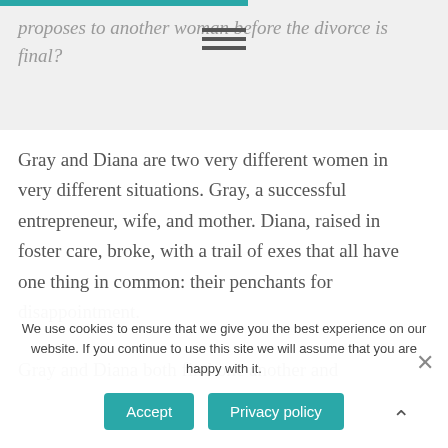proposes to another woman before the divorce is final?
Gray and Diana are two very different women in very different situations. Gray, a successful entrepreneur, wife, and mother. Diana, raised in foster care, broke, with a trail of exes that all have one thing in common: their penchants for disappointment.
Gray and Diana both find one another and
We use cookies to ensure that we give you the best experience on our website. If you continue to use this site we will assume that you are happy with it.